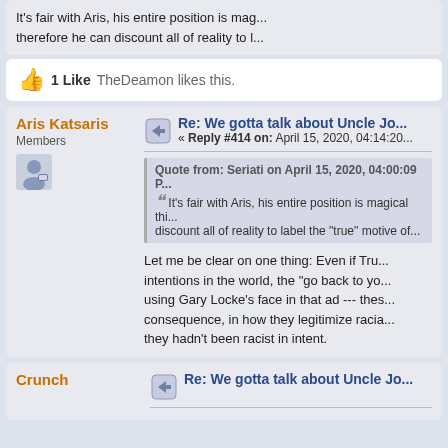It's fair with Aris, his entire position is mag... therefore he can discount all of reality to l...
1 Like TheDeamon likes this.
Aris Katsaris
Members
Re: We gotta talk about Uncle Jo...
« Reply #414 on: April 15, 2020, 04:14:20...
Quote from: Seriati on April 15, 2020, 04:00:09 P...
It's fair with Aris, his entire position is magical thi... discount all of reality to label the "true" motive of...
Let me be clear on one thing: Even if Tru... intentions in the world, the "go back to yo... using Gary Locke's face in that ad --- thes... consequence, in how they legitimize racia... they hadn't been racist in intent.
Crunch
Re: We gotta talk about Uncle Jo...